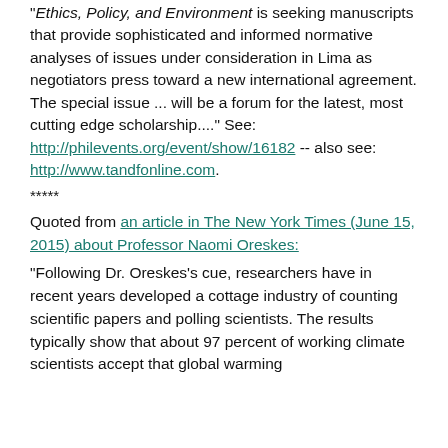"Ethics, Policy, and Environment is seeking manuscripts that provide sophisticated and informed normative analyses of issues under consideration in Lima as negotiators press toward a new international agreement. The special issue ... will be a forum for the latest, most cutting edge scholarship...." See: http://philevents.org/event/show/16182 -- also see: http://www.tandfonline.com.
*****
Quoted from an article in The New York Times (June 15, 2015) about Professor Naomi Oreskes:
"Following Dr. Oreskes's cue, researchers have in recent years developed a cottage industry of counting scientific papers and polling scientists. The results typically show that about 97 percent of working climate scientists accept that global warming